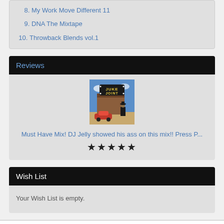8. My Work Move Different 11
9. DNA The Mixtape
10. Throwback Blends vol.1
Reviews
[Figure (illustration): Album cover for Juke Joint - shows a building with neon sign reading JUKE JOINT, a red car, and a figure in a hat on a blue sky background]
Must Have Mix! DJ Jelly showed his ass on this mix!! Press P...
★★★★★
Wish List
Your Wish List is empty.
HOW TO CONTACT US